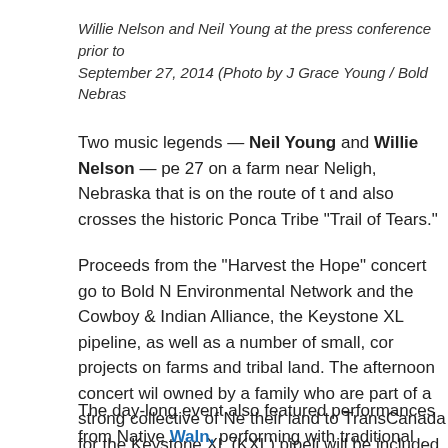Willie Nelson and Neil Young at the press conference prior to September 27, 2014 (Photo by J Grace Young / Bold Nebras
Two music legends — Neil Young and Willie Nelson — pe 27 on a farm near Neligh, Nebraska that is on the route of t and also crosses the historic Ponca Tribe “Trail of Tears.”
Proceeds from the “Harvest the Hope” concert go to Bold N Environmental Network and the Cowboy & Indian Alliance, the Keystone XL pipeline, as well as a number of small, cor projects on farms and tribal land. The afternoon concert wil owned by a family who are part of a strong collective of Ne their land to TransCanada for the Keystone XL (KXL) pipeli will be included in the day’s events.
The day-long event also featured performances from Native Waln, performing with traditional hoop dancers the Samps